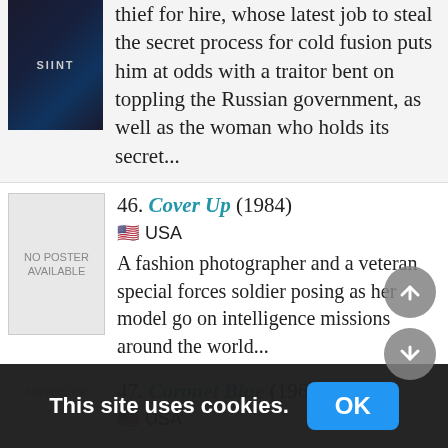thief for hire, whose latest job to steal the secret process for cold fusion puts him at odds with a traitor bent on toppling the Russian government, as well as the woman who holds its secret...
46. Cover Up (1984)
🇺🇸 USA
A fashion photographer and a veteran special forces soldier posing as her model go on intelligence missions around the world...
47. Coronet Blue (1967)
🇺🇸 USA
This site uses cookies.